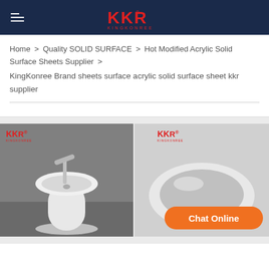KKR KINGKONREE
Home > Quality SOLID SURFACE > Hot Modified Acrylic Solid Surface Sheets Supplier > KingKonree Brand sheets surface acrylic solid surface sheet kkr supplier
[Figure (photo): Pedestal round white solid surface sink/basin with chrome faucet on grey background, KKR logo watermark top left]
[Figure (photo): Round white solid surface bowl/basin from above angle on light background, KKR logo watermark top left, with Chat Online orange button overlay]